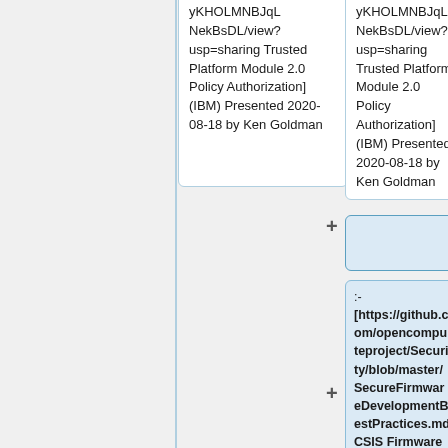yKHOLMNBJqLNekBsDL/view?usp=sharing Trusted Platform Module 2.0 Policy Authorization] (IBM) Presented 2020-08-18 by Ken Goldman
yKHOLMNBJqLNekBsDL/view?usp=sharing Trusted Platform Module 2.0 Policy Authorization] (IBM) Presented 2020-08-18 by Ken Goldman
+ (empty add button)
:- [https://github.com/opencomputeproject/Security/blob/master/SecureFirmwareDevelopmentBestPractices.md CSIS Firmware Development Best Practices]